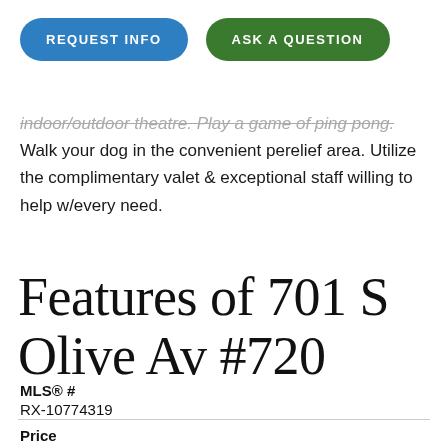[Figure (other): Two pill-shaped buttons: REQUEST INFO (blue) and ASK A QUESTION (green)]
indoor/outdoor theatre. Play a game of ping pong. Walk your dog in the convenient perelief area. Utilize the complimentary valet & exceptional staff willing to help w/every need.
Features of 701 S Olive Av #720
MLS® #
RX-10774319
Price